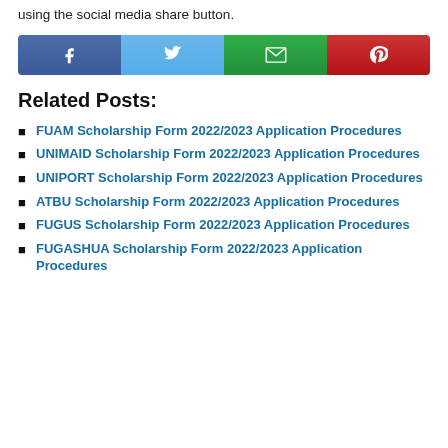using the social media share button.
[Figure (infographic): Social media share buttons: Facebook (dark blue), Twitter (light blue), Email (green), Pinterest (red)]
Related Posts:
FUAM Scholarship Form 2022/2023 Application Procedures
UNIMAID Scholarship Form 2022/2023 Application Procedures
UNIPORT Scholarship Form 2022/2023 Application Procedures
ATBU Scholarship Form 2022/2023 Application Procedures
FUGUS Scholarship Form 2022/2023 Application Procedures
FUGASHUA Scholarship Form 2022/2023 Application Procedures